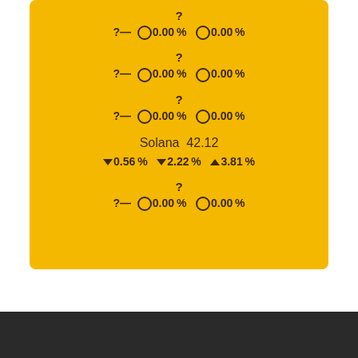?
? -- ○ 0.00% ○ 0.00%
?
? -- ○ 0.00% ○ 0.00%
?
? -- ○ 0.00% ○ 0.00%
Solana 42.12
▼ 0.56% ▼ 2.22% ▲ 3.81%
?
? -- ○ 0.00% ○ 0.00%